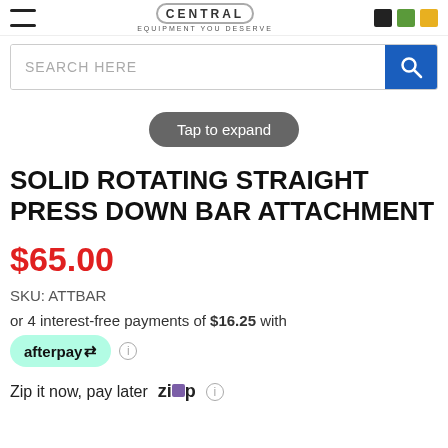CENTRAL EQUIPMENT YOU DESERVE
SEARCH HERE
Tap to expand
SOLID ROTATING STRAIGHT PRESS DOWN BAR ATTACHMENT
$65.00
SKU: ATTBAR
or 4 interest-free payments of $16.25 with
afterpay
Zip it now, pay later